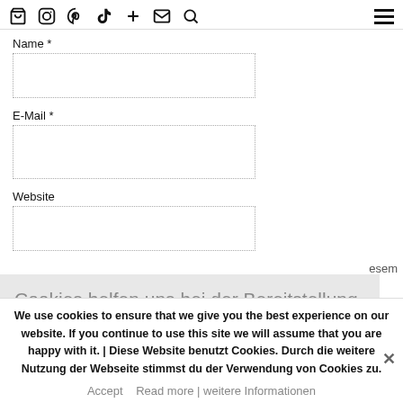Nav icons: bag, instagram, pinterest, tiktok, plus, mail, search | hamburger menu
Name *
E-Mail *
Website
esem
Cookies helfen uns bei der Bereitstellung unserer Inhalte und Dienste. Durch die weitere
We use cookies to ensure that we give you the best experience on our website. If you continue to use this site we will assume that you are happy with it. | Diese Website benutzt Cookies. Durch die weitere Nutzung der Webseite stimmst du der Verwendung von Cookies zu.
Accept   Read more | weitere Informationen